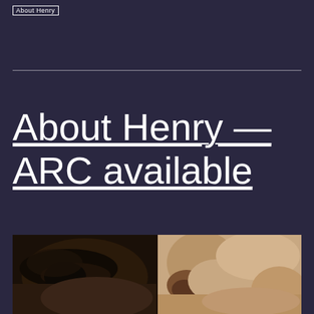About Henry
About Henry — ARC available
[Figure (photo): Close-up photograph of a man's face showing eye and nose, split composition with dark left side and lighter right side showing skin texture and stubble]